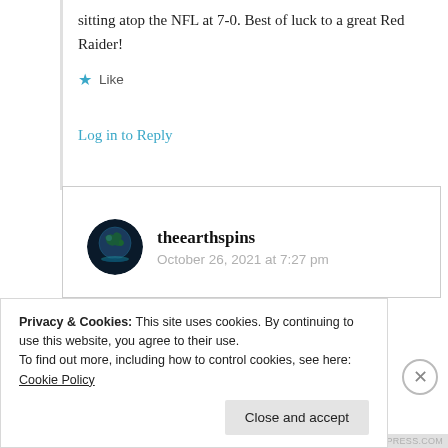sitting atop the NFL at 7-0. Best of luck to a great Red Raider!
★ Like
Log in to Reply
theearthspins
October 26, 2021 at 7:27 pm
Privacy & Cookies: This site uses cookies. By continuing to use this website, you agree to their use.
To find out more, including how to control cookies, see here: Cookie Policy
Close and accept